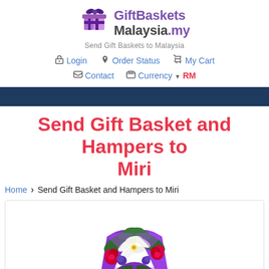[Figure (logo): GiftBasketsMalaysia.my logo with gift basket icon and tagline 'Send Gift Baskets to Malaysia']
Login  Order Status  My Cart  Contact  Currency RM
Send Gift Basket and Hampers to Miri
Home > Send Gift Basket and Hampers to Miri
[Figure (photo): A flower bouquet with white lilies, red roses, and green leaves wrapped in purple packaging]